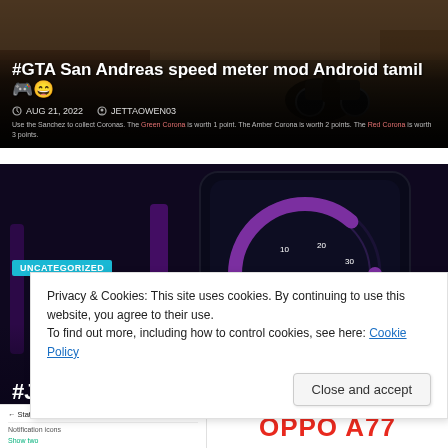[Figure (screenshot): Dark-themed blog post card showing GTA San Andreas speed meter mod Android Tamil article with date AUG 21, 2022 and author JETTAOWEN03]
[Figure (screenshot): Dark-themed blog post card with UNCATEGORIZED badge and Jio Fiber 300Mbps plan article heading, showing a circular meter/gauge graphic]
Privacy & Cookies: This site uses cookies. By continuing to use this website, you agree to their use.
To find out more, including how to control cookies, see here: Cookie Policy
Close and accept
[Figure (screenshot): Bottom strip showing Android settings UI on the left (Status bar, Notification icons, Battery style settings) and OPPO A77 logo text in red on the right]